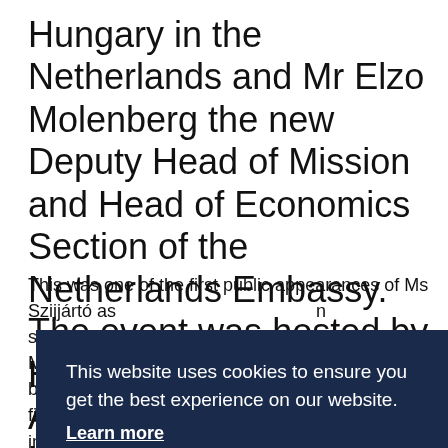Hungary in the Netherlands and Mr Elzo Molenberg the new Deputy Head of Mission and Head of Economics Section of the Netherlands Embassy. The event was hosted by H.E. Gajus Scheltema, Ambassador of the Kingdom of the Netherlands at his spectacular Residency.
This was one of the first public appearances of Ms Szijjártó as ... n s ... M ... t b ... fi ... in ... C ... t w ...
This website uses cookies to ensure you get the best experience on our website.
Learn more
Decline
Allow cookies